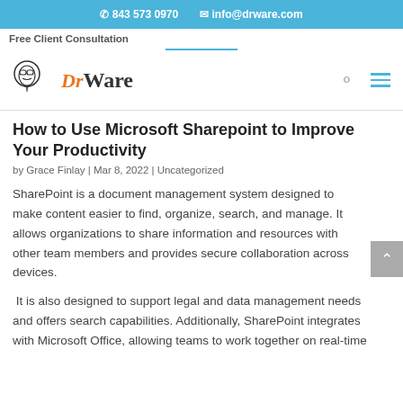843 573 0970   info@drware.com
Free Client Consultation
[Figure (logo): DrWare logo with cartoon character icon and stylized text 'DrWare' in orange and black]
How to Use Microsoft Sharepoint to Improve Your Productivity
by Grace Finlay | Mar 8, 2022 | Uncategorized
SharePoint is a document management system designed to make content easier to find, organize, search, and manage. It allows organizations to share information and resources with other team members and provides secure collaboration across devices.
It is also designed to support legal and data management needs and offers search capabilities. Additionally, SharePoint integrates with Microsoft Office, allowing teams to work together on real-time